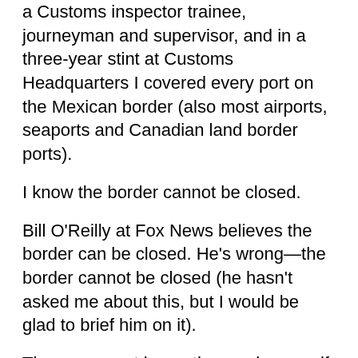a Customs inspector trainee, journeyman and supervisor, and in a three-year stint at Customs Headquarters I covered every port on the Mexican border (also most airports, seaports and Canadian land border ports).
I know the border cannot be closed.
Bill O'Reilly at Fox News believes the border can be closed. He's wrong—the border cannot be closed (he hasn't asked me about this, but I would be glad to brief him on it).
The onus must be on the employers—if the illegals can't work, they won't come—period.
I began my 26-year career with the United States Customs Service at the international border crossing in